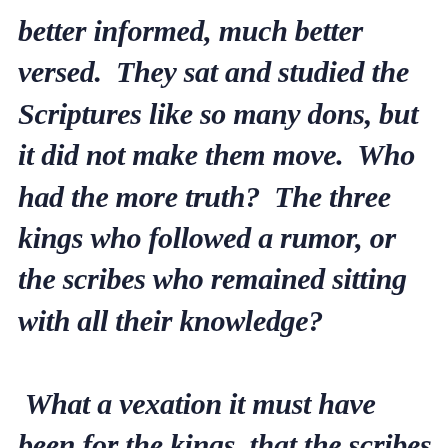better informed, much better versed.  They sat and studied the Scriptures like so many dons, but it did not make them move.  Who had the more truth?  The three kings who followed a rumor, or the scribes who remained sitting with all their knowledge?

What a vexation it must have been for the kings, that the scribes who